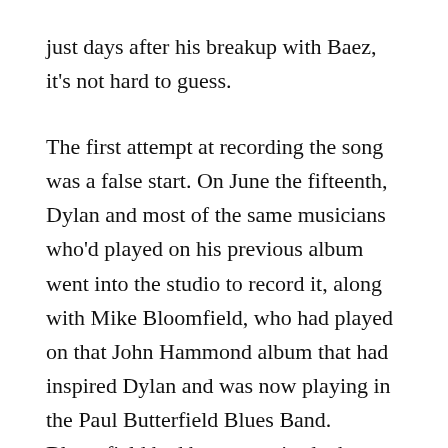just days after his breakup with Baez, it's not hard to guess.
The first attempt at recording the song was a false start. On June the fifteenth, Dylan and most of the same musicians who'd played on his previous album went into the studio to record it, along with Mike Bloomfield, who had played on that John Hammond album that had inspired Dylan and was now playing in the Paul Butterfield Blues Band. Bloomfield had been surprised when Dylan had told him that he didn't want the kind of string-bending electric blues that Bloomfield usually played, but he managed to come up with something Dylan approved of — but the song was at this point in waltz time: